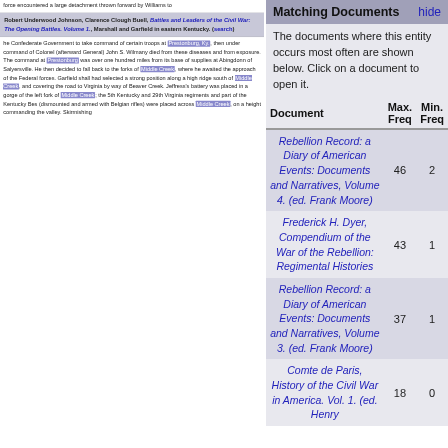force encountered a large detachment thrown forward by Williams to
Robert Underwood Johnson, Clarence Clough Buell, Battles and Leaders of the Civil War: The Opening Battles. Volume 1., Marshall and Garfield in eastern Kentucky. (search)
he Confederate Government to take command of certain troops at Prestonburg, Ky., then under command of Colonel (afterward General) John S. Wilmany died from these diseases and from exposure. The command at Prestonburg was over one hundred miles from its base of supplies at Abingdonn of Salyersville. He then decided to fall back to the forks of Middle Creek, where he awaited the approach of the Federal forces. Garfield shall had selected a strong position along a high ridge south of Middle Creek, and covering the road to Virginia by way of Beaver Creek. Jeffress's battery was placed in a gorge of the left fork of Middle Creek; the 5th Kentucky and 29th Virginia regiments and part of the Kentucky Bes (dismounted and armed with Belgian rifles) were placed across Middle Creek, on a height commanding the valley. Skirmishing
Matching Documents  hide
The documents where this entity occurs most often are shown below. Click on a document to open it.
| Document | Max. Freq | Min. Freq |
| --- | --- | --- |
| Rebellion Record: a Diary of American Events: Documents and Narratives, Volume 4. (ed. Frank Moore) | 46 | 2 |
| Frederick H. Dyer, Compendium of the War of the Rebellion: Regimental Histories | 43 | 1 |
| Rebellion Record: a Diary of American Events: Documents and Narratives, Volume 3. (ed. Frank Moore) | 37 | 1 |
| Comte de Paris, History of the Civil War in America. Vol. 1. (ed. Henry | 18 | 0 |